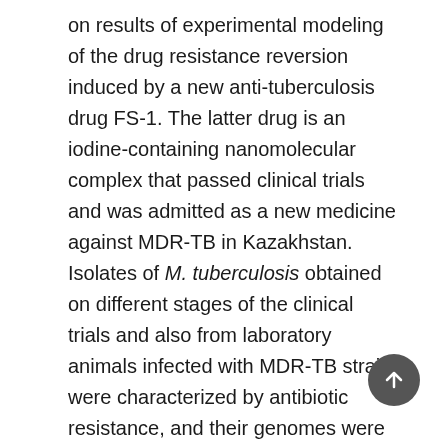on results of experimental modeling of the drug resistance reversion induced by a new anti-tuberculosis drug FS-1. The latter drug is an iodine-containing nanomolecular complex that passed clinical trials and was admitted as a new medicine against MDR-TB in Kazakhstan. Isolates of M. tuberculosis obtained on different stages of the clinical trials and also from laboratory animals infected with MDR-TB strain were characterized by antibiotic resistance, and their genomes were sequenced by the paired-end Illumina HiSeq 2000 technology. A steady increase in sensitivity to conventional anti-tuberculosis antibiotics in series of isolated treated with FS-1 was registered despite the fact that the canonical drug resistance mutations identified in the genomes of these isolates remained intact. It was hypothesized that the drug resistance phenotype in M. tuberculosis requires an adjustment of activities of many genes to